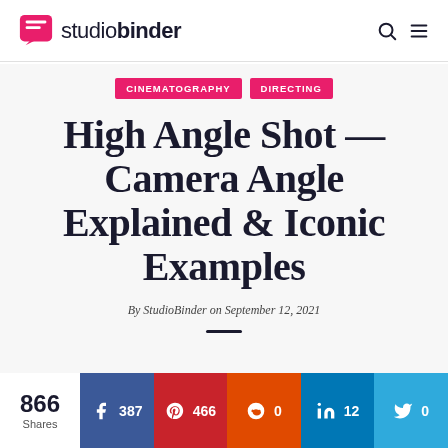studiobinder
CINEMATOGRAPHY   DIRECTING
High Angle Shot — Camera Angle Explained & Iconic Examples
By StudioBinder on September 12, 2021
866 Shares  f 387  p 466  reddit 0  in 12  twitter 0